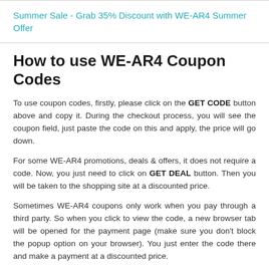Summer Sale - Grab 35% Discount with WE-AR4 Summer Offer
How to use WE-AR4 Coupon Codes
To use coupon codes, firstly, please click on the GET CODE button above and copy it. During the checkout process, you will see the coupon field, just paste the code on this and apply, the price will go down.
For some WE-AR4 promotions, deals & offers, it does not require a code. Now, you just need to click on GET DEAL button. Then you will be taken to the shopping site at a discounted price.
Sometimes WE-AR4 coupons only work when you pay through a third party. So when you click to view the code, a new browser tab will be opened for the payment page (make sure you don't block the popup option on your browser). You just enter the code there and make a payment at a discounted price.